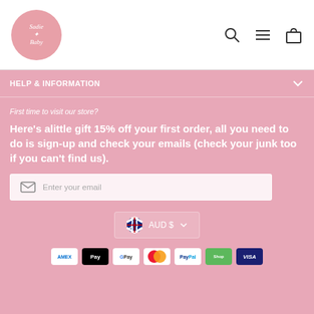[Figure (logo): Sadie Baby circular pink logo with white text and female silhouette]
[Figure (other): Navigation icons: search, hamburger menu, and shopping bag/cart]
HELP & INFORMATION
First time to visit our store?
Here's alittle gift 15% off your first order, all you need to do is sign-up and check your emails (check your junk too if you can't find us).
Enter your email
AUD $
[Figure (other): Payment method icons: American Express, Apple Pay, Google Pay, Mastercard, PayPal, Shop Pay, Visa]